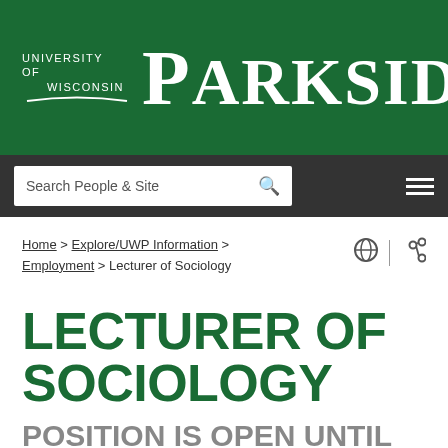[Figure (logo): University of Wisconsin Parkside logo on green banner background]
Search People & Site  ☰
Home > Explore/UWP Information > Employment > Lecturer of Sociology
LECTURER OF SOCIOLOGY
POSITION IS OPEN UNTIL FILLED